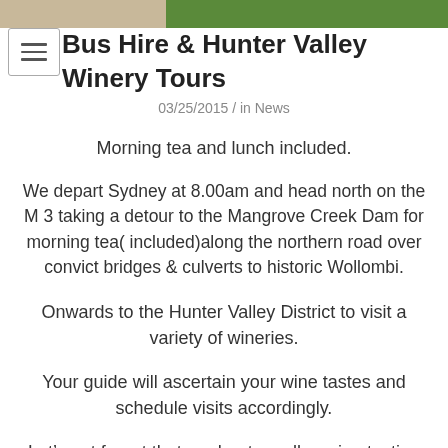[Figure (photo): Photo strip at top showing two images side by side: left half is a building with beige/stone exterior, right half is a green grassy area.]
Bus Hire & Hunter Valley Winery Tours
03/25/2015 / in News
Morning tea and lunch included.
We depart Sydney at 8.00am and head north on the M 3 taking a detour to the Mangrove Creek Dam for morning tea( included)along the northern road over convict bridges & culverts to historic Wollombi.
Onwards to the Hunter Valley District to visit a variety of wineries.
Your guide will ascertain your wine tastes and schedule visits accordingly.
Let’s not forget that our hunter valley wine tasting tours